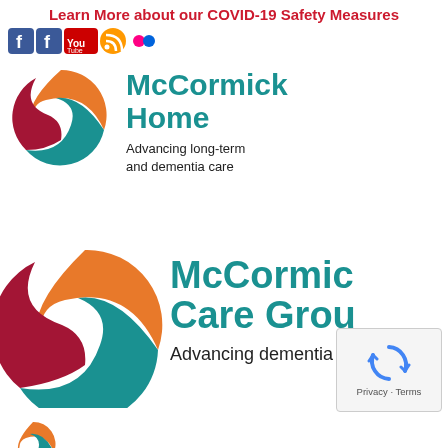Learn More about our COVID-19 Safety Measures
[Figure (logo): Social media icons: two Facebook icons, YouTube icon, RSS icon, Flickr icon]
[Figure (logo): McCormick Home logo with swirl design in orange, teal, and dark red. Text: McCormick Home. Advancing long-term and dementia care]
[Figure (logo): McCormick Care Group logo with larger swirl design in orange, teal, and dark red. Text: McCormick Care Grou(p). Advancing dementia c(are) — partially clipped]
[Figure (other): Google reCAPTCHA widget with Privacy and Terms links]